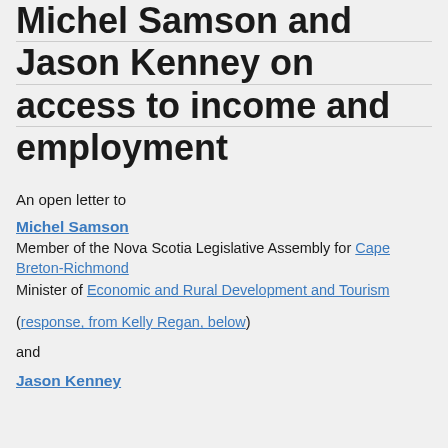Michel Samson and Jason Kenney on access to income and employment
An open letter to
Michel Samson
Member of the Nova Scotia Legislative Assembly for Cape Breton-Richmond
Minister of Economic and Rural Development and Tourism
(response, from Kelly Regan, below)
and
Jason Kenney